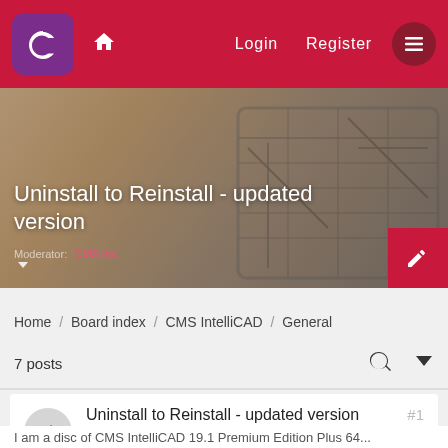Login  Register
[Figure (screenshot): Hero banner image showing a tablet with blueprint/chart drawings on a wooden desk, with overlay text 'Uninstall to Reinstall - updated version' and 'Moderator: CMS Inc']
Uninstall to Reinstall - updated version
Moderator  CMS Inc
Home / Board index / CMS IntelliCAD / General
7 posts
Uninstall to Reinstall - updated version
by darrinism
#1
I am a disc of CMS IntelliCAD 19.1 Premium Edition Plus 64...